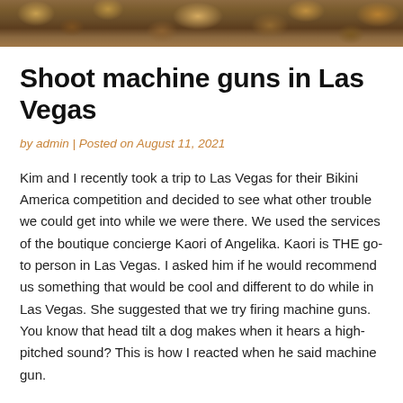[Figure (photo): Outdoor nature scene with autumn foliage and forest floor, used as a decorative header image]
Shoot machine guns in Las Vegas
by admin | Posted on August 11, 2021
Kim and I recently took a trip to Las Vegas for their Bikini America competition and decided to see what other trouble we could get into while we were there. We used the services of the boutique concierge Kaori of Angelika. Kaori is THE go-to person in Las Vegas. I asked him if he would recommend us something that would be cool and different to do while in Las Vegas. She suggested that we try firing machine guns. You know that head tilt a dog makes when it hears a high-pitched sound? This is how I reacted when he said machine gun.